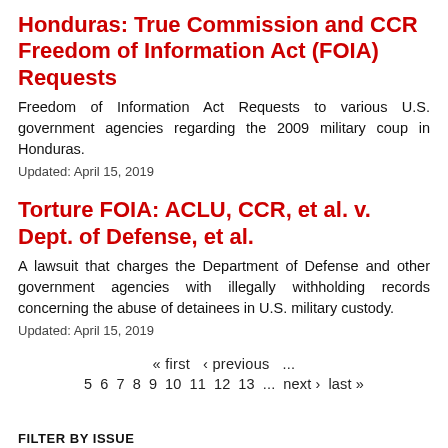Honduras: True Commission and CCR Freedom of Information Act (FOIA) Requests
Freedom of Information Act Requests to various U.S. government agencies regarding the 2009 military coup in Honduras.
Updated: April 15, 2019
Torture FOIA: ACLU, CCR, et al. v. Dept. of Defense, et al.
A lawsuit that charges the Department of Defense and other government agencies with illegally withholding records concerning the abuse of detainees in U.S. military custody.
Updated: April 15, 2019
« first  ‹ previous  ...  5  6  7  8  9  10  11  12  13  ...  next ›  last »
FILTER BY ISSUE